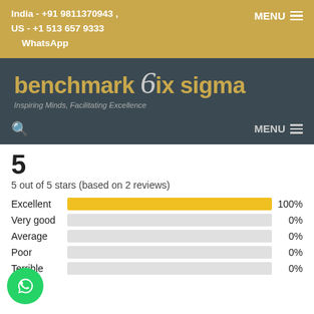India - +91 9811370943 , US - +1 513 657 9333 WhatsApp
[Figure (logo): benchmark 6ix sigma logo with tagline 'Inspiring Minds, Facilitating Excellence']
5
5 out of 5 stars (based on 2 reviews)
[Figure (bar-chart): Rating breakdown]